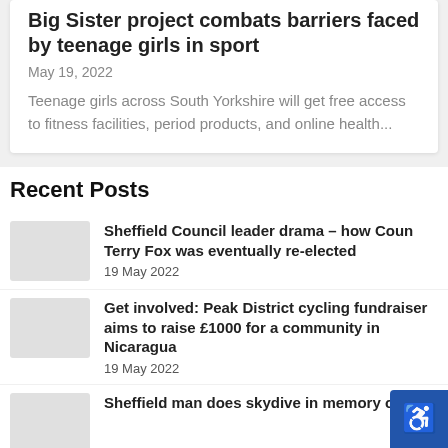Big Sister project combats barriers faced by teenage girls in sport
May 19, 2022
Teenage girls across South Yorkshire will get free access to fitness facilities, period products, and online health...
Recent Posts
Sheffield Council leader drama – how Coun Terry Fox was eventually re-elected
19 May 2022
Get involved: Peak District cycling fundraiser aims to raise £1000 for a community in Nicaragua
19 May 2022
Sheffield man does skydive in memory of his